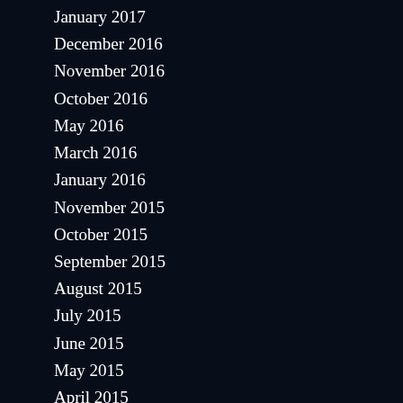January 2017
December 2016
November 2016
October 2016
May 2016
March 2016
January 2016
November 2015
October 2015
September 2015
August 2015
July 2015
June 2015
May 2015
April 2015
March 2015
February 2015
January 2015